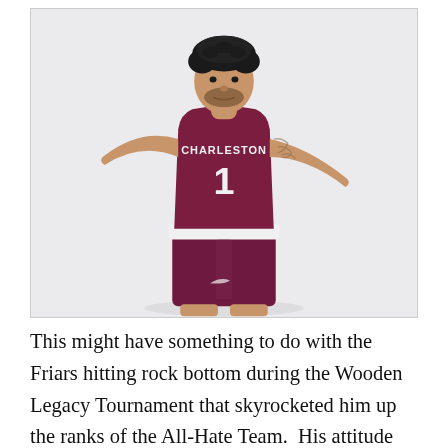[Figure (photo): A basketball player in a maroon/dark red Charleston jersey numbered 1, posing with arms extended in a shooting or celebratory stance against a white/light gray background. The player has curly hair, a beard, and a tattoo on his right arm.]
This might have something to do with the Friars hitting rock bottom during the Wooden Legacy Tournament that skyrocketed him up the ranks of the All-Hate Team.  His attitude on the floor is that he thinks his shit don't stink.  The fact that not a single person on the Friars put him in check is something that I don't think would've happened